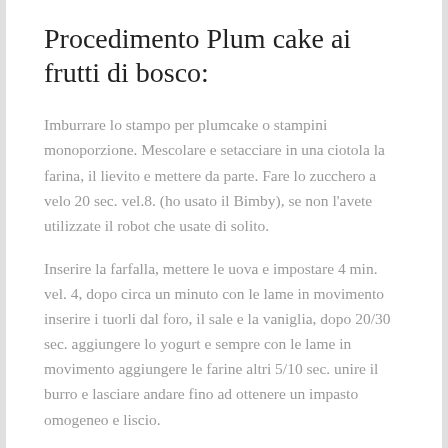Procedimento Plum cake ai frutti di bosco:
Imburrare lo stampo per plumcake o stampini monoporzione. Mescolare e setacciare in una ciotola la farina, il lievito e mettere da parte. Fare lo zucchero a velo 20 sec. vel.8. (ho usato il Bimby), se non l'avete utilizzate il robot che usate di solito.
Inserire la farfalla, mettere le uova e impostare 4 min. vel. 4, dopo circa un minuto con le lame in movimento inserire i tuorli dal foro, il sale e la vaniglia, dopo 20/30 sec. aggiungere lo yogurt e sempre con le lame in movimento aggiungere le farine altri 5/10 sec. unire il burro e lasciare andare fino ad ottenere un impasto omogeneo e liscio.